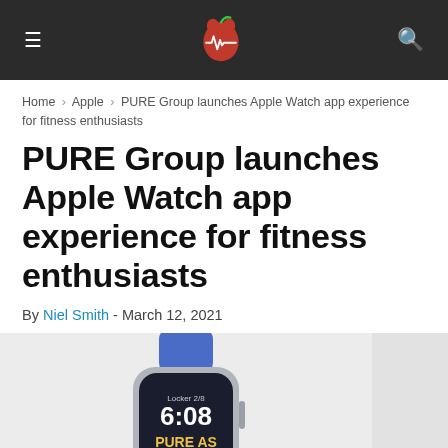≡  [logo]  🔍
Home › Apple › PURE Group launches Apple Watch app experience for fitness enthusiasts
PURE Group launches Apple Watch app experience for fitness enthusiasts
By Niel Smith - March 12, 2021
[Figure (photo): Apple Watch with blue band showing PURE app interface with time 6:08 and text 'PURE AS GOLD' on dark screen, displayed on light gray background]